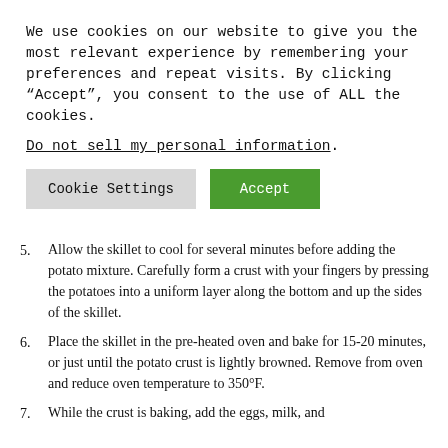We use cookies on our website to give you the most relevant experience by remembering your preferences and repeat visits. By clicking “Accept”, you consent to the use of ALL the cookies.
Do not sell my personal information.
Cookie Settings | Accept
skillet to a bowl and set aside.
5. Allow the skillet to cool for several minutes before adding the potato mixture. Carefully form a crust with your fingers by pressing the potatoes into a uniform layer along the bottom and up the sides of the skillet.
6. Place the skillet in the pre-heated oven and bake for 15-20 minutes, or just until the potato crust is lightly browned. Remove from oven and reduce oven temperature to 350°F.
7. While the crust is baking, add the eggs, milk, and